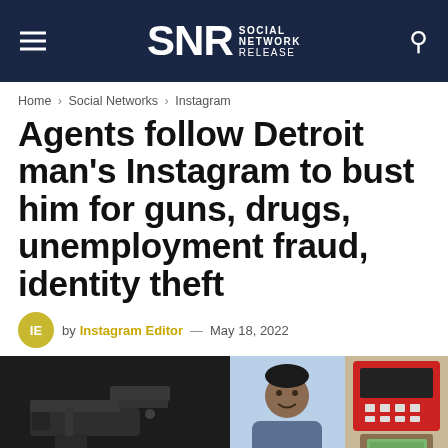SNR SOCIAL NETWORK RELEASE
Home > Social Networks > Instagram
Agents follow Detroit man's Instagram to bust him for guns, drugs, unemployment fraud, identity theft
by Instagram Editor — May 18, 2022
[Figure (photo): Three images: a handgun on dark surface, a mugshot/ID photo of a young Black man smiling, and a person's hand taking cash from an ATM machine]